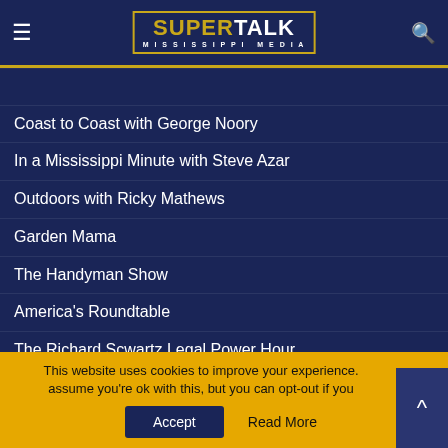SuperTalk Mississippi Media
Coast to Coast with George Noory
In a Mississippi Minute with Steve Azar
Outdoors with Ricky Mathews
Garden Mama
The Handyman Show
America's Roundtable
The Richard Scwartz Legal Power Hour
NEWS
Latest News
This website uses cookies to improve your experience. assume you're ok with this, but you can opt-out if you Accept  Read More